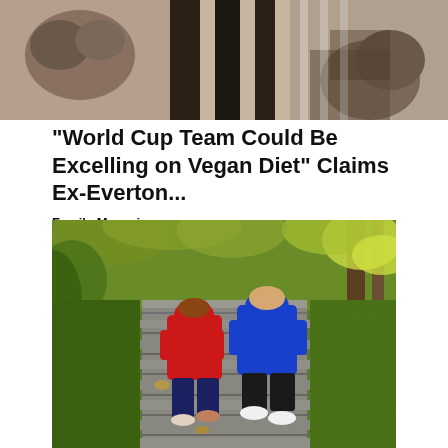[Figure (photo): Black and white photo showing people's legs and feet, likely athletes or football players, cropped at the top of the page]
“World Cup Team Could Be Excelling on Vegan Diet” Claims Ex-Everton...
Family Magazine
[Figure (photo): Two people (one in red hoodie, one in blue hoodie) running up outdoor stone stairs surrounded by autumn green and yellow foliage trees]